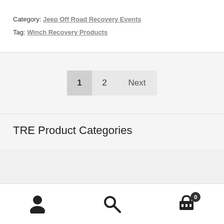Category: Jeep Off Road Recovery Events
Tag: Winch Recovery Products
1  2  Next
TRE Product Categories
User icon | Search icon | Cart icon with badge 0